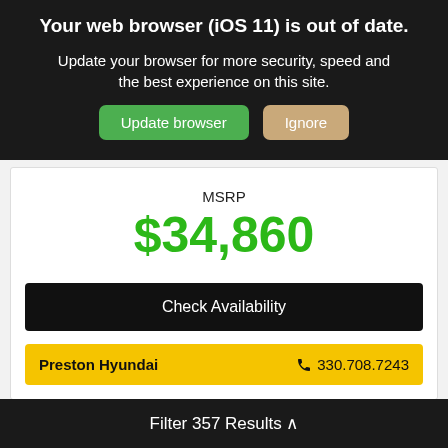Your web browser (iOS 11) is out of date.
Update your browser for more security, speed and the best experience on this site.
Update browser | Ignore
MSRP
$34,860
Check Availability
Preston Hyundai   330.708.7243
Filter 357 Results ^